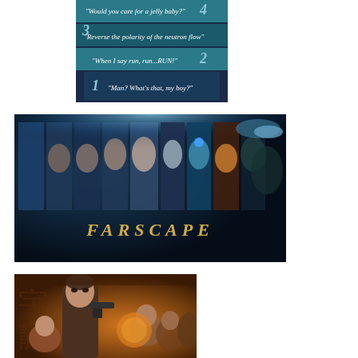[Figure (illustration): A ranked list graphic with a blue/teal podium style ranking, showing 4 items with sci-fi quotes numbered 1-4. Quote 1: 'Man? What's that, my boy?' Quote 2: 'When I say run, run...RUN!' Quote 3: 'Reverse the polarity of the neutron flow' Quote 4: 'Would you care for a jelly baby?']
[Figure (photo): Farscape TV show promotional image showing multiple character faces in vertical strips with the FARSCAPE logo at the bottom, dark blue/teal sci-fi aesthetic]
[Figure (illustration): Firefly/Serenity promotional artwork showing a male character with a gun in a warm orange-toned illustrated poster style, with Asian characters visible and other crew members]